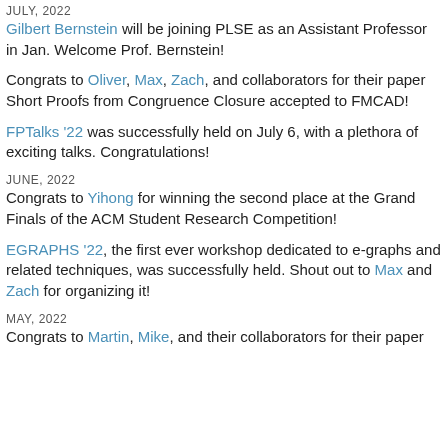JULY, 2022
Gilbert Bernstein will be joining PLSE as an Assistant Professor in Jan. Welcome Prof. Bernstein!
Congrats to Oliver, Max, Zach, and collaborators for their paper Short Proofs from Congruence Closure accepted to FMCAD!
FPTalks '22 was successfully held on July 6, with a plethora of exciting talks. Congratulations!
JUNE, 2022
Congrats to Yihong for winning the second place at the Grand Finals of the ACM Student Research Competition!
EGRAPHS '22, the first ever workshop dedicated to e-graphs and related techniques, was successfully held. Shout out to Max and Zach for organizing it!
MAY, 2022
Congrats to Martin, Mike, and their collaborators for their paper